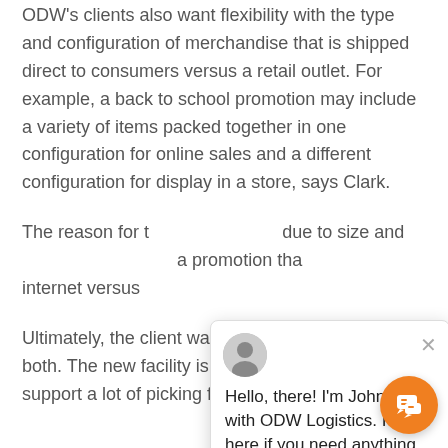ODW's clients also want flexibility with the type and configuration of merchandise that is shipped direct to consumers versus a retail outlet. For example, a back to school promotion may include a variety of items packed together in one configuration for online sales and a different configuration for display in a store, says Clark.
The reason for [this complexity] is due to size and [weight]. If you have a promotion that... internet versus...
[Figure (screenshot): A live chat popup widget showing a chat agent avatar photo and the message: 'Hello, there! I'm John Meier with ODW Logistics. I'm here if you need anything.' with a close (X) button. An orange circular chat launcher button with a speech bubble icon is in the bottom-right corner.]
Ultimately, the client wants the flexibility to do both. The new facility is therefore designed to support a lot of picking for individual items over time...